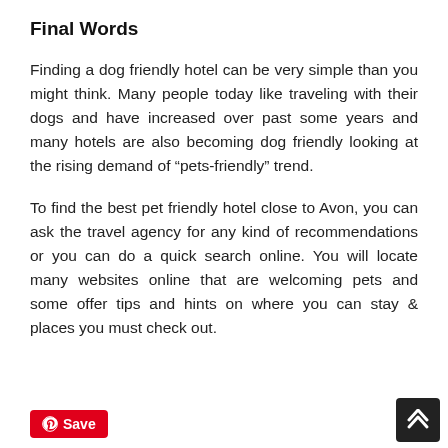Final Words
Finding a dog friendly hotel can be very simple than you might think. Many people today like traveling with their dogs and have increased over past some years and many hotels are also becoming dog friendly looking at the rising demand of “pets-friendly” trend.
To find the best pet friendly hotel close to Avon, you can ask the travel agency for any kind of recommendations or you can do a quick search online. You will locate many websites online that are welcoming pets and some offer tips and hints on where you can stay & places you must check out.